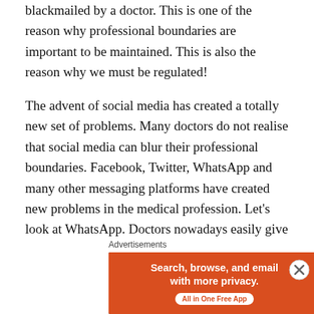blackmailed by a doctor. This is one of the reason why professional boundaries are important to be maintained. This is also the reason why we must be regulated!
The advent of social media has created a totally new set of problems. Many doctors do not realise that social media can blur their professional boundaries. Facebook, Twitter, WhatsApp and many other messaging platforms have created new problems in the medical profession. Let's look at WhatsApp. Doctors nowadays easily give their phone numbers to their patients, send confidential informations such as blood results etc via WhatsApp to the patient and even discuss their problems via WhatsApp. The doctor believes that he is tying to help the patient but forgets the
Advertisements
[Figure (infographic): DuckDuckGo advertisement banner: orange left panel with text 'Search, browse, and email with more privacy. All in One Free App' and dark right panel with DuckDuckGo logo and brand name.]